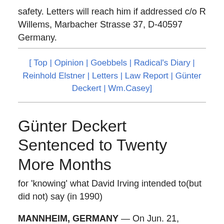safety. Letters will reach him if addressed c/o R Willems, Marbacher Strasse 37, D-40597 Germany.
[ Top | Opinion | Goebbels | Radical's Diary | Reinhold Elstner | Letters | Law Report | Günter Deckert | Wm.Casey]
Günter Deckert Sentenced to Twenty More Months
for 'knowing' what David Irving intended to(but did not) say (in 1990)
MANNHEIM, GERMANY — On Jun. 21, Günter Deckert, already serving a prison s[...]